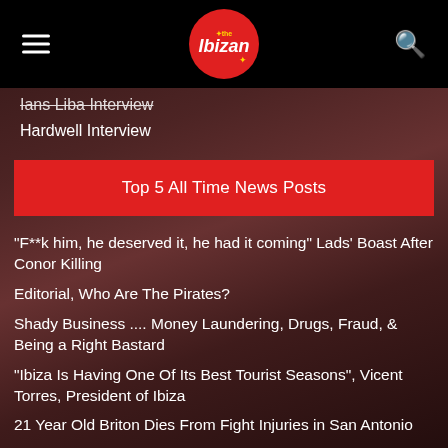The Ibizan
Ians Liba Interview
Hardwell Interview
Top 5 All Time News Posts
“F**k him, he deserved it, he had it coming” Lads’ Boast After Conor Killing
Editorial, Who Are The Pirates?
Shady Business .... Money Laundering, Drugs, Fraud, & Being a Right Bastard
“Ibiza Is Having One Of Its Best Tourist Seasons”, Vicent Torres, President of Ibiza
21 Year Old Briton Dies From Fight Injuries in San Antonio